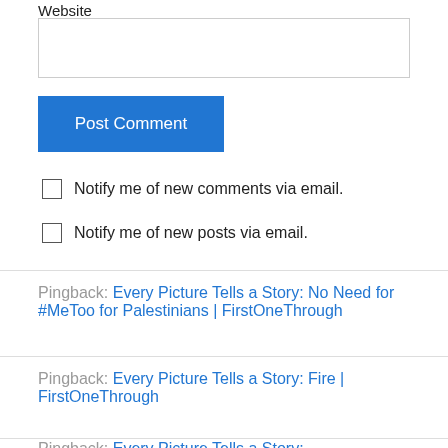Website
Post Comment
Notify me of new comments via email.
Notify me of new posts via email.
Pingback: Every Picture Tells a Story: No Need for #MeToo for Palestinians | FirstOneThrough
Pingback: Every Picture Tells a Story: Fire | FirstOneThrough
Pingback: Every Picture Tells a Story: ...